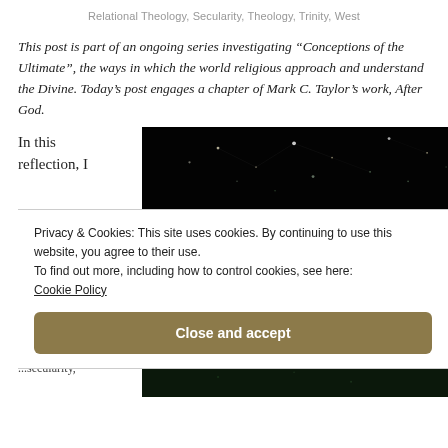Relational Theology, Secularity, Theology, Trinity, West
This post is part of an ongoing series investigating “Conceptions of the Ultimate”, the ways in which the world religious approach and understand the Divine. Today’s post engages a chapter of Mark C. Taylor’s work, After God.
In this
reflection, I
[Figure (photo): Dark nighttime photo with scattered bright lights resembling stars or a glowing network against a black background]
Privacy & Cookies: This site uses cookies. By continuing to use this website, you agree to their use.
To find out more, including how to control cookies, see here:
Cookie Policy
Close and accept
...secularity,
[Figure (photo): Dark green nighttime forest or nature photo]